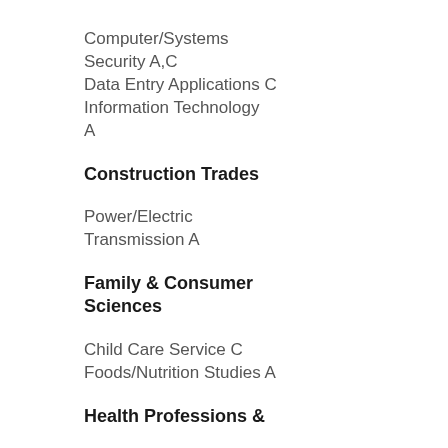Computer/Systems Security A,C
Data Entry Applications C
Information Technology A
Construction Trades
Power/Electric Transmission A
Family & Consumer Sciences
Child Care Service C
Foods/Nutrition Studies A
Health Professions &